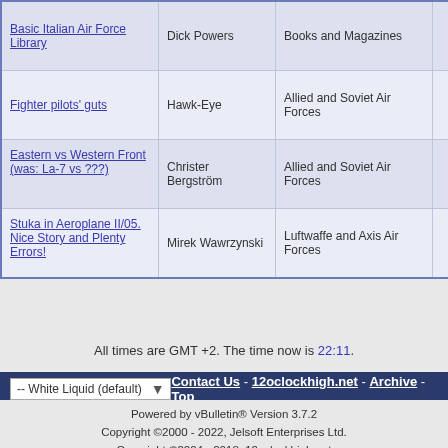| Topic | Author | Forum | Replies | Last Post |
| --- | --- | --- | --- | --- |
| Basic Italian Air Force Library | Dick Powers | Books and Magazines | 5 | 13th Mar 200 04:1 |
| Fighter pilots' guts | Hawk-Eye | Allied and Soviet Air Forces | 44 | 8th Apr 200 14:2 |
| Eastern vs Western Front (was: La-7 vs ???) | Christer Bergström | Allied and Soviet Air Forces | 66 | 1st Marc 200 19:4 |
| Stuka in Aeroplane II/05. Nice Story and Plenty Errors! | Mirek Wawrzynski | Luftwaffe and Axis Air Forces | 11 | 27th Januar 200 19:1 |
All times are GMT +2. The time now is 22:11.
-- White Liquid (default)   Contact Us - 12oclockhigh.net - Archive - Top
Powered by vBulletin® Version 3.7.2
Copyright ©2000 - 2022, Jelsoft Enterprises Ltd.
Copyright ©2004 - 2018, 12oclockhigh.net